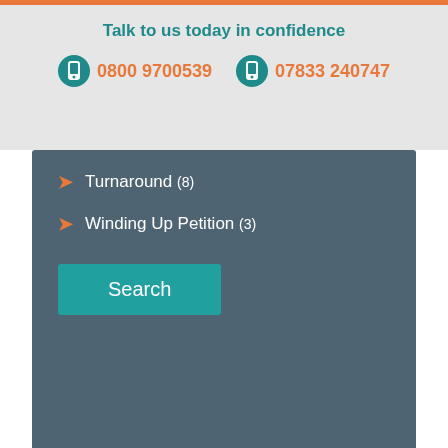Talk to us today in confidence
0800 9700539   07833 240747
Turnaround (8)
Winding Up Petition (3)
Search
[Figure (screenshot): Screenshot of KSA Group website with cookie consent overlay reading 'This website uses cookies to ensure you get the best experience on our website. Learn more about cookies' with a Got it! button, and an orange speech bubble saying 'Talk to an expert'. Background shows a blurred photo of a person.]